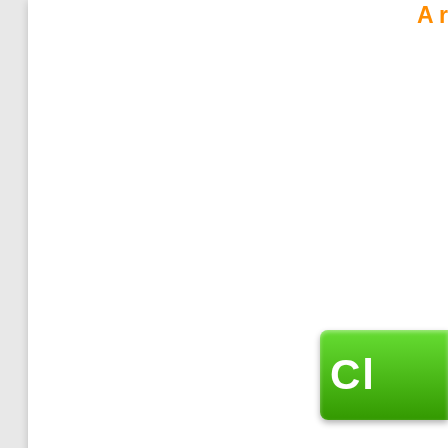A r...
[Figure (screenshot): Green button partially visible with letters 'Cl']
Free Game Plays: 54757  Online Game...
SPOTLIGHT DRESS-UP GAMES SIMILAR TO PRINCESS EM...
[Figure (photo): Four game thumbnail images showing dress-up game characters]
[Figure (photo): Second game thumbnail]
[Figure (photo): Third game thumbnail]
[Figure (photo): Fourth game thumbnail]